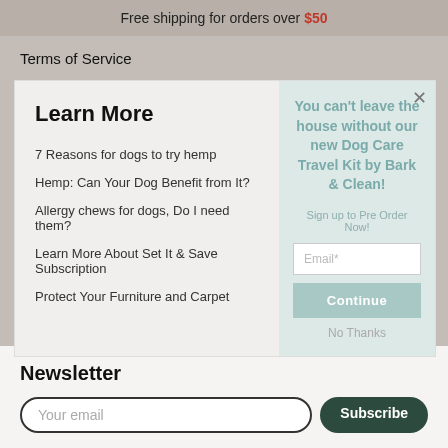Free shipping for orders over $50
Terms of Service
Shop Wholesale
e-Privacy page
Learn More
7 Reasons for dogs to try hemp
Hemp: Can Your Dog Benefit from It?
Allergy chews for dogs, Do I need them?
Learn More About Set It & Save Subscription
Protect Your Furniture and Carpet
You can't leave the house without our new Dog Care Travel Kit by Bark & Clean!
Sign up to Pre Order Now!
Continue
No Thanks
Newsletter
Your email
Subscribe